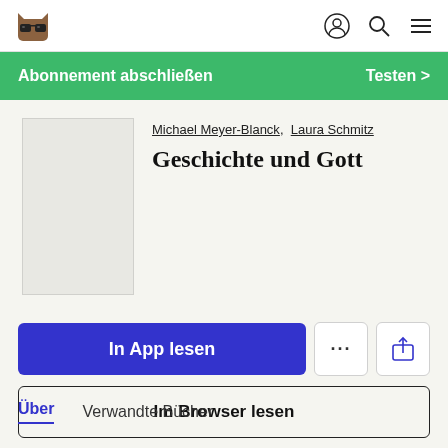[Figure (logo): Scribd/Everand cat with glasses logo in top left nav bar]
Abonnement abschließen   Testen >
Michael Meyer-Blanck,  Laura Schmitz
Geschichte und Gott
In App lesen
Im Browser lesen
Über   Verwandte Bücher